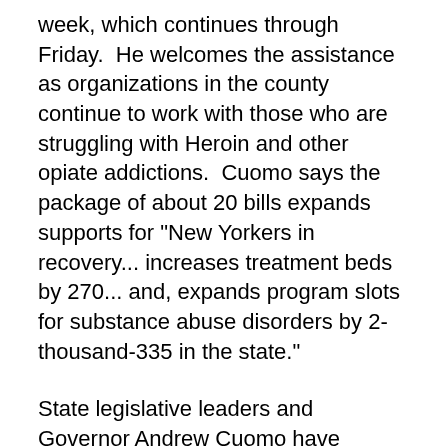week, which continues through Friday.  He welcomes the assistance as organizations in the county continue to work with those who are struggling with Heroin and other opiate addictions.  Cuomo says the package of about 20 bills expands supports for "New Yorkers in recovery... increases treatment beds by 270... and, expands program slots for substance abuse disorders by 2-thousand-335 in the state."
State legislative leaders and Governor Andrew Cuomo have agreed to legislation they say will "modernize" New York's 80-year old Alcoholic Beverage Control Law.  Cuomo said late Tuesday that the agreement would allow alcohol to be sold earlier on Sundays... and, reduces burdensome fees for wineries, distilleries, breweries and cideries statewide.  In addition... the governor says the measures add commonsense provisions to broaden retail sales by producers.  The measure regarding sales on